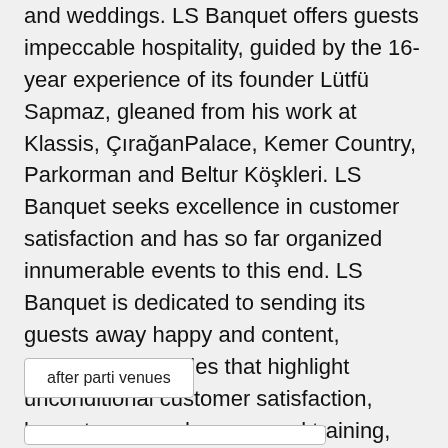and weddings. LS Banquet offers guests impeccable hospitality, guided by the 16-year experience of its founder Lütfü Sapmaz, gleaned from his work at Klassis, ÇırağanPalace, Kemer Country, Parkorman and Beltur Köşkleri. LS Banquet seeks excellence in customer satisfaction and has so far organized innumerable events to this end. LS Banquet is dedicated to sending its guests away happy and content, upholding principles that highlight unconditional customer satisfaction, honesty, research, personnel training, excellence in service and a problem-solving approach.
after parti venues